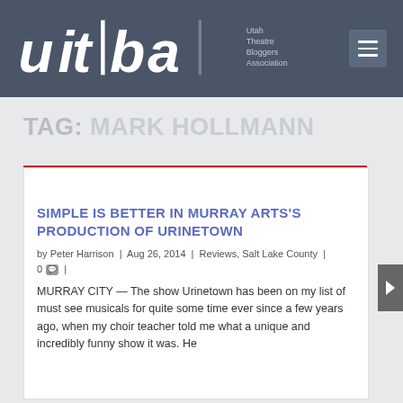Utah Theatre Bloggers Association
TAG: MARK HOLLMANN
1 .column.size-1of1
SIMPLE IS BETTER IN MURRAY ARTS'S PRODUCTION OF URINETOWN
by Peter Harrison | Aug 26, 2014 | Reviews, Salt Lake County | 0 |
MURRAY CITY — The show Urinetown has been on my list of must see musicals for quite some time ever since a few years ago, when my choir teacher told me what a unique and incredibly funny show it was. He